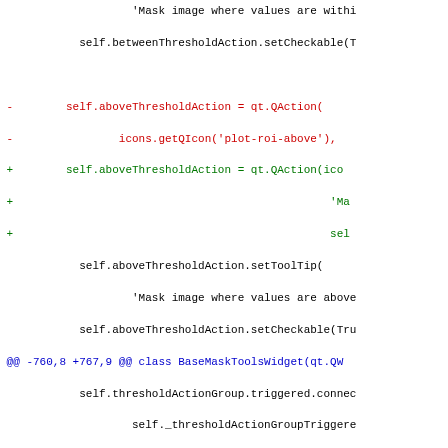[Figure (screenshot): A code diff showing Python source changes with context lines in black, removed lines in red prefixed with '-', added lines in green prefixed with '+', and hunk headers in blue prefixed with '@@'.]